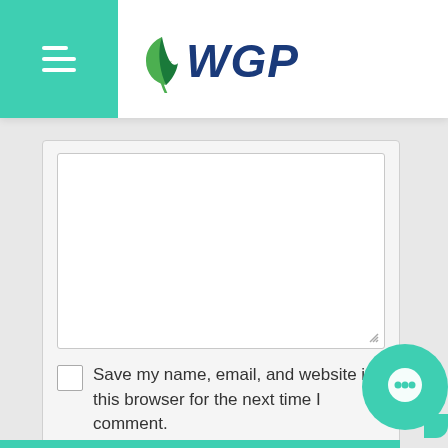[Figure (logo): WGP logo with green hamburger menu button on left and WGP brand name in blue italic with green leaf icon]
[Figure (screenshot): Web form area showing a large empty textarea with resize handle, a checkbox labeled 'Save my name, email, and website in this browser for the next time I comment.', and a teal Submit button]
Save my name, email, and website in this browser for the next time I comment.
Submit